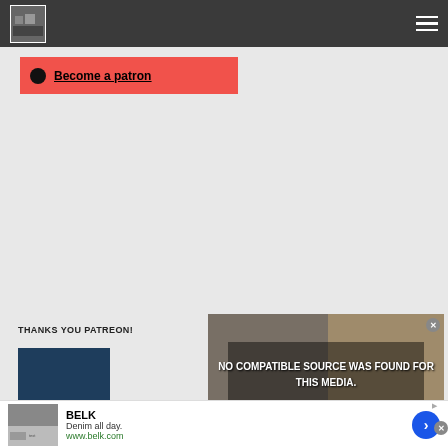Navigation bar with logo and hamburger menu
[Figure (screenshot): Patreon become a patron red button with Patreon logo icon and underlined text 'Become a patron']
[Figure (screenshot): Video player overlay showing 'NO COMPATIBLE SOURCE WAS FOUND FOR THIS MEDIA.' with close button]
THANKS YOU PATREON!
[Figure (screenshot): Dark navy blue rectangle block]
[Figure (screenshot): Advertisement for BELK: Denim all day. www.belk.com with arrow button and ad images]